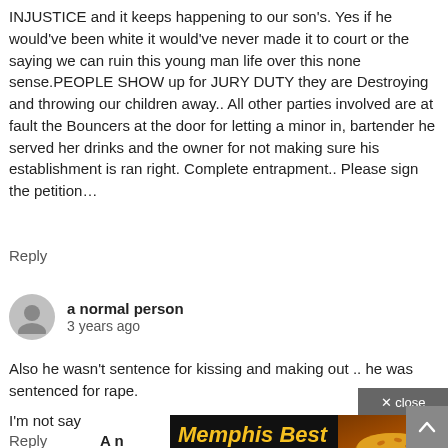INJUSTICE and it keeps happening to our son's. Yes if he would've been white it would've never made it to court or the saying we can ruin this young man life over this none sense.PEOPLE SHOW up for JURY DUTY they are Destroying and throwing our children away.. All other parties involved are at fault the Bouncers at the door for letting a minor in, bartender he served her drinks and the owner for not making sure his establishment is ran right. Complete entrapment.. Please sign the petition...
Reply
a normal person
3 years ago
Also he wasn't sentence for kissing and making out .. he was sentenced for rape.
I'm not say
Reply
[Figure (screenshot): Advertisement overlay for Memphis Best Restaurants with a burger image and CLICK HERE button, plus a close button and scroll-to-top arrow button]
A n